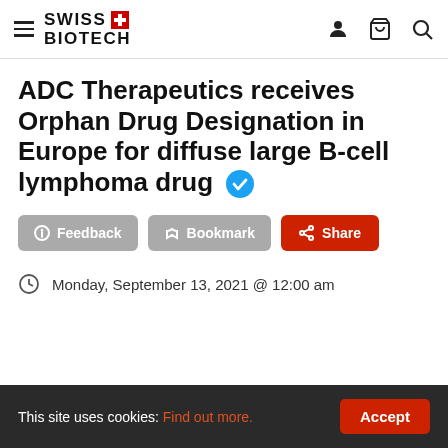SWISS BIOTECH
ADC Therapeutics receives Orphan Drug Designation in Europe for diffuse large B-cell lymphoma drug
Feedback | Bookmark | Share
Monday, September 13, 2021 @ 12:00 am
This site uses cookies: Find out more. Accept